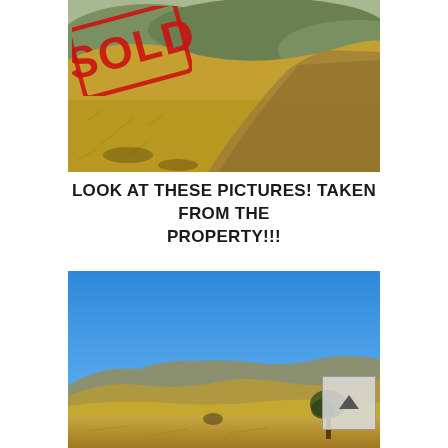[Figure (photo): Aerial/landscape photo of dry grassy hillside with dirt road, overlaid with a red SOLD stamp in the upper left]
LOOK AT THESE PICTURES! TAKEN FROM THE PROPERTY!!!
[Figure (photo): Wide landscape photo of open rolling grassland under bright blue sky with mountains in the background and a lone tree; scroll-up arrow UI element in lower right corner]